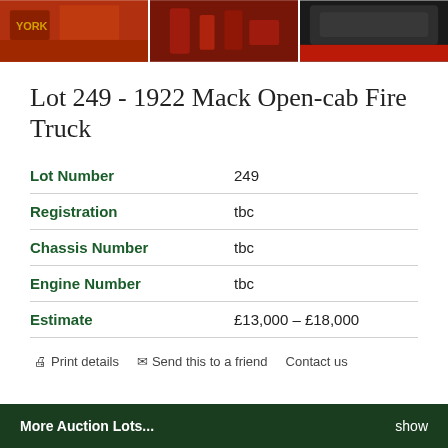[Figure (photo): Three cropped photos of a 1922 Mack Open-cab Fire Truck: left shows red cab with 'YORK' text, center shows red mechanical parts/straps, right shows dark seat/cab interior]
Lot 249 - 1922 Mack Open-cab Fire Truck
| Field | Value |
| --- | --- |
| Lot Number | 249 |
| Registration | tbc |
| Chassis Number | tbc |
| Engine Number | tbc |
| Estimate | £13,000 – £18,000 |
Print details   Send this to a friend   Contact us
More Auction Lots...   show